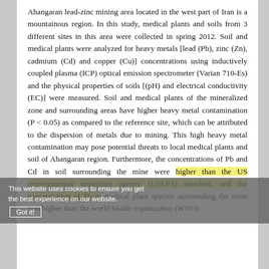Ahangaran lead-zinc mining area located in the west part of Iran is a mountainous region. In this study, medical plants and soils from 3 different sites in this area were collected in spring 2012. Soil and medical plants were analyzed for heavy metals [lead (Pb), zinc (Zn), cadmium (Cd) and copper (Cu)] concentrations using inductively coupled plasma (ICP) optical emission spectrometer (Varian 710-Es) and the physical properties of soils [(pH) and electrical conductivity (EC)] were measured. Soil and medical plants of the mineralized zone and surrounding areas have higher heavy metal contamination (P < 0.05) as compared to the reference site, which can be attributed to the dispersion of metals due to mining. This high heavy metal contamination may pose potential threats to local medical plants and soil of Ahangaran region. Furthermore, the concentrations of Pb and Cd in soil surrounding the mine were higher than the US environmental protection agency (USEPA) standard, and the concentration of Pb in medical plant species surrounding the mine was higher than the world health organization (WHO)